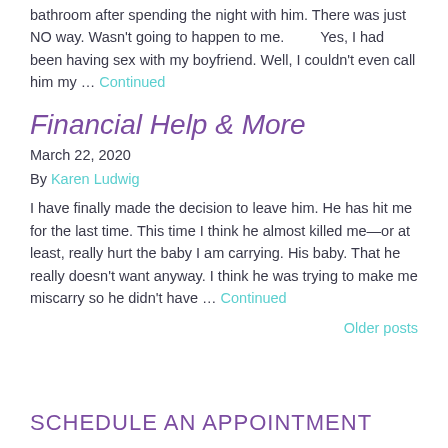bathroom after spending the night with him.  There was just NO way.  Wasn't going to happen to me.          Yes, I had been having sex with my boyfriend.  Well, I couldn't even call him my … Continued
Financial Help & More
March 22, 2020
By Karen Ludwig
I have finally made the decision to leave him.  He has hit me for the last time.  This time I think he almost killed me—or at least, really hurt the baby I am carrying.  His baby.  That he really doesn't want anyway.  I think he was trying to make me miscarry so he didn't have … Continued
Older posts
SCHEDULE AN APPOINTMENT